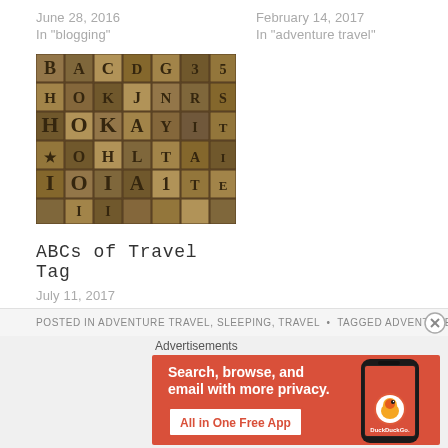June 28, 2016
In "blogging"
February 14, 2017
In "adventure travel"
[Figure (photo): Close-up photo of wooden letterpress type blocks with various letters and characters]
ABCs of Travel Tag
July 11, 2017
In "adventure travel"
POSTED IN ADVENTURE TRAVEL, SLEEPING, TRAVEL  •  TAGGED ADVENTURE, DISCOVER, ...
Advertisements
[Figure (screenshot): DuckDuckGo advertisement banner: Search, browse, and email with more privacy. All in One Free App. Shows DuckDuckGo logo on a phone.]